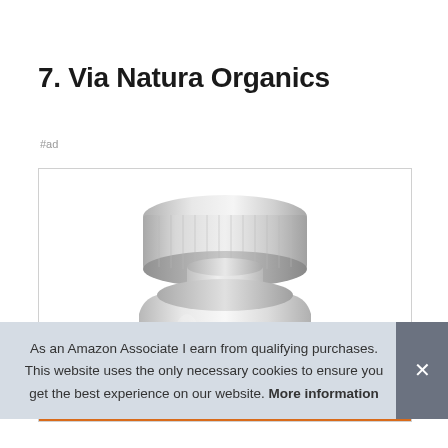7. Via Natura Organics
#ad
[Figure (photo): A white supplement/vitamin bottle with a ribbed silver-white screw cap, photographed from slightly above against a white background, cropped so only the top half of the bottle is visible inside a bordered product box.]
As an Amazon Associate I earn from qualifying purchases. This website uses the only necessary cookies to ensure you get the best experience on our website. More information